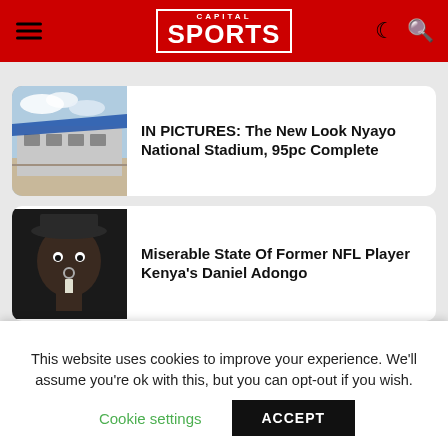CAPITAL SPORTS
[Figure (screenshot): Article card with image of Nyayo National Stadium exterior]
IN PICTURES: The New Look Nyayo National Stadium, 95pc Complete
[Figure (photo): Article card with close-up photo of a man (Daniel Adongo)]
Miserable State Of Former NFL Player Kenya's Daniel Adongo
[Figure (photo): Article card with soccer/football match photo]
DStv, GOtv Subscribers In For A Treat As
This website uses cookies to improve your experience. We'll assume you're ok with this, but you can opt-out if you wish.
Cookie settings    ACCEPT